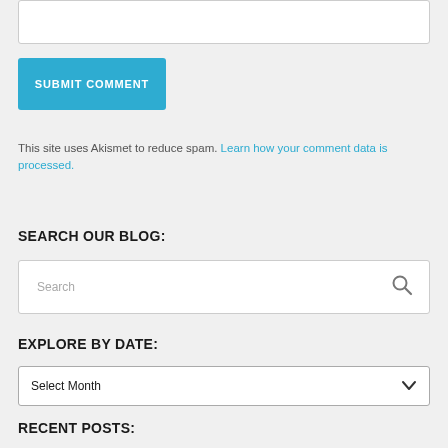[Figure (screenshot): Text area input box (top of page, partially visible)]
SUBMIT COMMENT
This site uses Akismet to reduce spam. Learn how your comment data is processed.
SEARCH OUR BLOG:
[Figure (screenshot): Search input box with placeholder text 'Search' and magnifying glass icon]
EXPLORE BY DATE:
[Figure (screenshot): Dropdown select box with 'Select Month' option and chevron arrow]
RECENT POSTS: